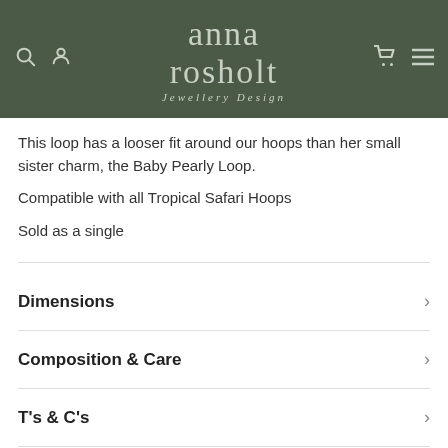[Figure (screenshot): Anna Rosholt Jewellery Design website header with dark green background, logo text, search/account icons on left, cart/menu icons on right]
This loop has a looser fit around our hoops than her small sister charm, the Baby Pearly Loop.
Compatible with all Tropical Safari Hoops
Sold as a single
Dimensions
Composition & Care
T's & C's